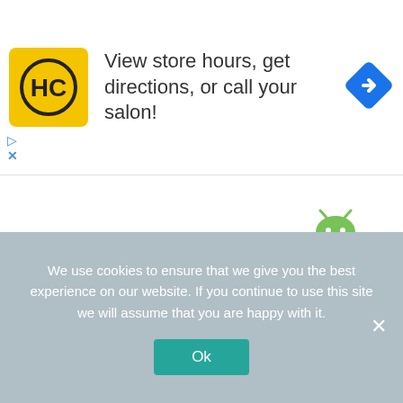[Figure (logo): HC yellow logo square with black circle and HC letters]
View store hours, get directions, or call your salon!
[Figure (logo): Blue diamond direction/navigation icon]
[Figure (logo): Android robot mascot with Google Play logo on chest]
We use cookies to ensure that we give you the best experience on our website. If you continue to use this site we will assume that you are happy with it.
Ok